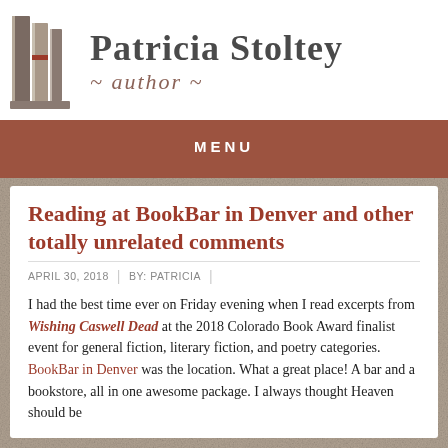[Figure (logo): Patricia Stoltey author blog logo with illustrated books on the left and the name 'Patricia Stoltey' with '~ author ~' tagline]
MENU
Reading at BookBar in Denver and other totally unrelated comments
APRIL 30, 2018  |  BY: PATRICIA  |
I had the best time ever on Friday evening when I read excerpts from Wishing Caswell Dead at the 2018 Colorado Book Award finalist event for general fiction, literary fiction, and poetry categories. BookBar in Denver was the location. What a great place! A bar and a bookstore, all in one awesome package. I always thought Heaven should be